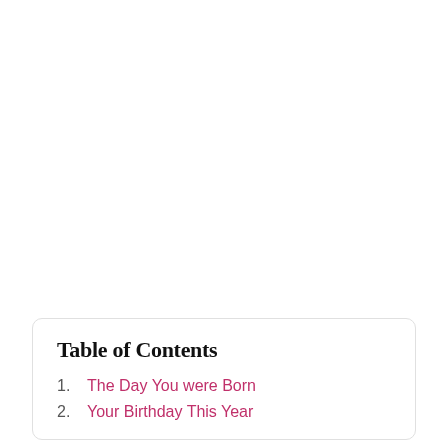Table of Contents
1. The Day You were Born
2. Your Birthday This Year